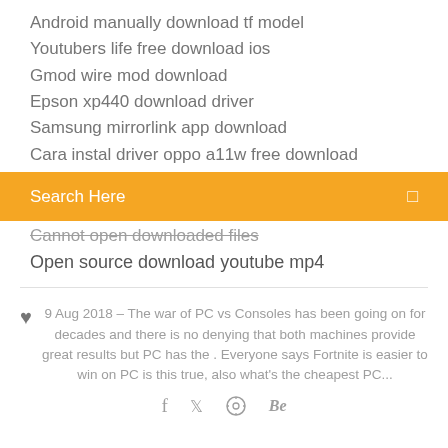Android manually download tf model
Youtubers life free download ios
Gmod wire mod download
Epson xp440 download driver
Samsung mirrorlink app download
Cara instal driver oppo a11w free download
Search Here
Cannot open downloaded files
Open source download youtube mp4
9 Aug 2018 – The war of PC vs Consoles has been going on for decades and there is no denying that both machines provide great results but PC has the . Everyone says Fortnite is easier to win on PC is this true, also what's the cheapest PC...